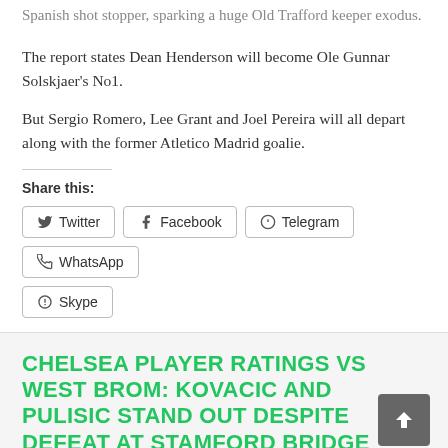Spanish shot stopper, sparking a huge Old Trafford keeper exodus.
The report states Dean Henderson will become Ole Gunnar Solskjaer's No1.
But Sergio Romero, Lee Grant and Joel Pereira will all depart along with the former Atletico Madrid goalie.
Share this:
Twitter
Facebook
Telegram
WhatsApp
Skype
CHELSEA PLAYER RATINGS VS WEST BROM: KOVACIC AND PULISIC STAND OUT DESPITE DEFEAT AT STAMFORD BRIDGE